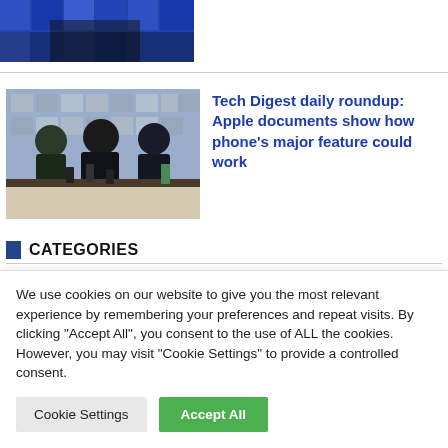[Figure (photo): Partial view of a person with blue background (cropped top image)]
[Figure (photo): People in an Apple Store looking at iPhones on display tables]
Tech Digest daily roundup: Apple documents show how phone's major feature could work
CATEGORIES
We use cookies on our website to give you the most relevant experience by remembering your preferences and repeat visits. By clicking "Accept All", you consent to the use of ALL the cookies. However, you may visit "Cookie Settings" to provide a controlled consent.